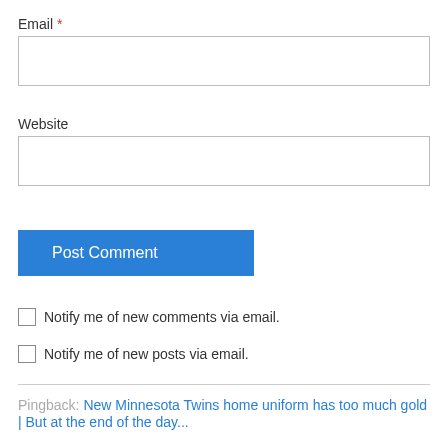Email *
[Figure (other): Email text input field (empty)]
Website
[Figure (other): Website text input field (empty)]
Post Comment (button)
Notify me of new comments via email.
Notify me of new posts via email.
Pingback: New Minnesota Twins home uniform has too much gold | But at the end of the day...